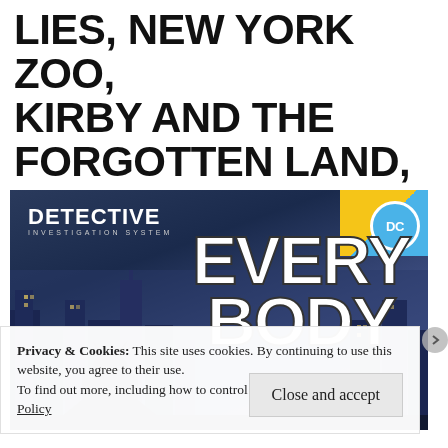LIES, NEW YORK ZOO, KIRBY AND THE FORGOTTEN LAND, AND 1001 SPIKES
[Figure (illustration): DC Detective Investigation System game box art showing Batman silhouette against a stylized city skyline with 'EVERY BODY' in large white letters, DC logo in top-right corner on blue/yellow background]
Privacy & Cookies: This site uses cookies. By continuing to use this website, you agree to their use.
To find out more, including how to control cookies, see here: Cookie Policy
Close and accept